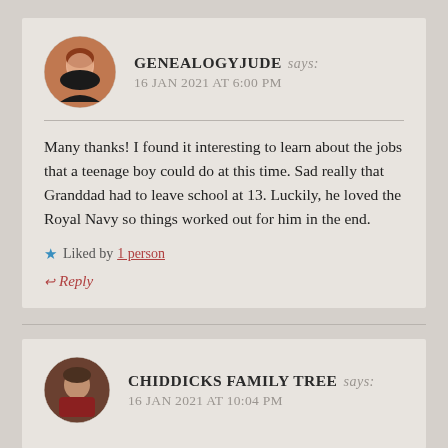GENEALOGYJUDE says: 16 JAN 2021 AT 6:00 PM
Many thanks! I found it interesting to learn about the jobs that a teenage boy could do at this time. Sad really that Granddad had to leave school at 13. Luckily, he loved the Royal Navy so things worked out for him in the end.
★ Liked by 1 person
↩ Reply
CHIDDICKS FAMILY TREE says: 16 JAN 2021 AT 10:04 PM